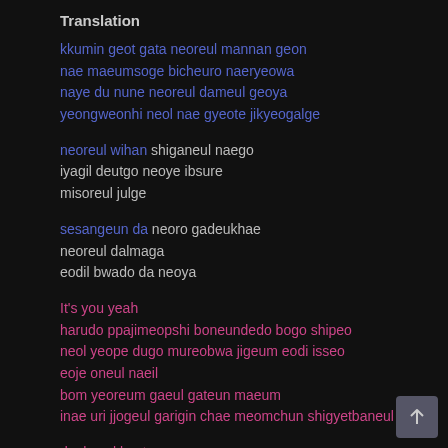Translation
kkumin geot gata neoreul mannan geon
nae maeumsoge bicheuro naeryeowa
naye du nune neoreul dameul geoya
yeongweonhi neol nae gyeote jikyeogalge
neoreul wihan shiganeul naego
iyagil deutgo neoye ibsure
misoreul julge
sesangeun da neoro gadeukhae
neoreul dalmaga
eodil bwado da neoya
It's you yeah
harudo ppajimeopshi boneundedo bogo shipeo
neol yeope dugo mureobwa jigeum eodi isseo
eoje oneul naeil
bom yeoreum gaeul gateun maeum
inae uri jjogeul garigin chae meomchun shigyetbaneul
daehwa kkeute nameun